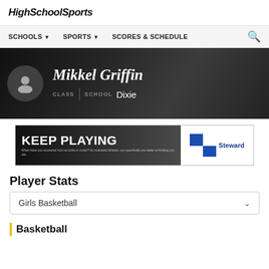HighSchoolSports
SCHOOLS  SPORTS  SCORES & SCHEDULE
[Figure (screenshot): Player profile hero banner showing Mikkel Griffin with avatar icon, school Dixie, and class labels on dark textured background]
[Figure (infographic): KEEP PLAYING advertisement banner with Steward health logo]
Player Stats
Girls Basketball
Basketball